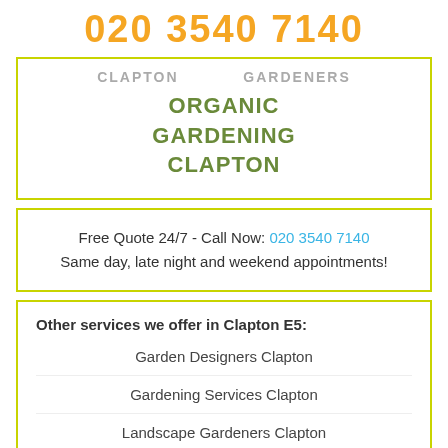020 3540 7140
CLAPTON ... GARDENERS
ORGANIC GARDENING CLAPTON
Free Quote 24/7 - Call Now: 020 3540 7140
Same day, late night and weekend appointments!
Other services we offer in Clapton E5:
Garden Designers Clapton
Gardening Services Clapton
Landscape Gardeners Clapton